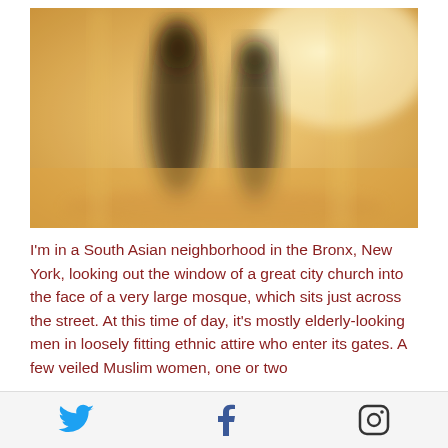[Figure (photo): Blurred photo of two dark silhouetted figures in a warm golden/amber toned interior space, possibly inside a mosque or similar building.]
I'm in a South Asian neighborhood in the Bronx, New York, looking out the window of a great city church into the face of a very large mosque, which sits just across the street. At this time of day, it's mostly elderly-looking men in loosely fitting ethnic attire who enter its gates. A few veiled Muslim women, one or two
Twitter | Facebook | Instagram